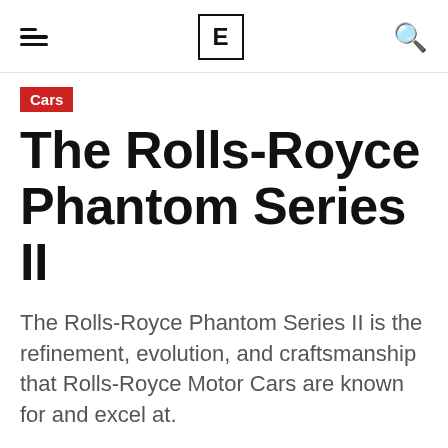E
Cars
The Rolls-Royce Phantom Series II
The Rolls-Royce Phantom Series II is the refinement, evolution, and craftsmanship that Rolls-Royce Motor Cars are known for and excel at.